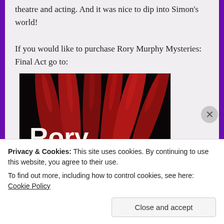theatre and acting. And it was nice to dip into Simon's world!
If you would like to purchase Rory Murphy Mysteries: Final Act go to:
[Figure (illustration): Book cover image for Rory Murphy Mysteries showing text 'Rory Murphy' in white letters against a dark red background with what appears to be fingers or organic shapes in red.]
Privacy & Cookies: This site uses cookies. By continuing to use this website, you agree to their use.
To find out more, including how to control cookies, see here: Cookie Policy
Close and accept